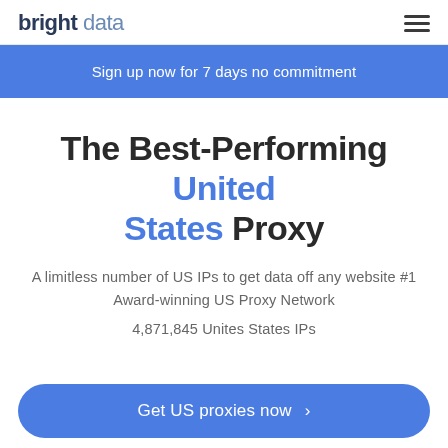bright data
Sign up now for 7 days no commitment
The Best-Performing United States Proxy
A limitless number of US IPs to get data off any website #1 Award-winning US Proxy Network
4,871,845 Unites States IPs
Get US proxies now >